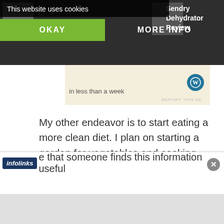[Figure (screenshot): Website screenshot showing cookie consent banner, advertisements in dark top bar, article body text with hyperlinks, and infolinks overlay at bottom]
This website uses cookies
OKAY
MORE INFO
in less than a week
Sendry Dehydrator Review
My other endeavor is to start eating a more clean diet. I plan on starting a garden for vegetables and cooking more things from scratch. As I find recipes that are good  I will pass them along to you. No more buying bread for me either. Starting today I will be making my own as well.
infolinks  e that someone finds this information useful